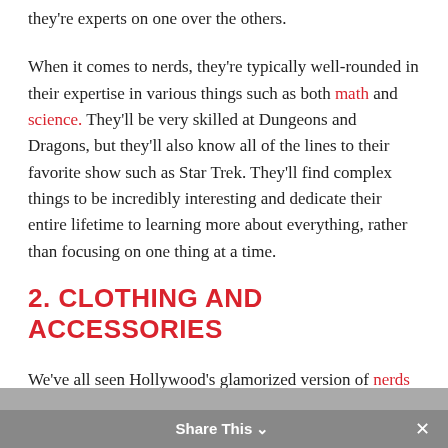they're experts on one over the others.
When it comes to nerds, they're typically well-rounded in their expertise in various things such as both math and science. They'll be very skilled at Dungeons and Dragons, but they'll also know all of the lines to their favorite show such as Star Trek. They'll find complex things to be incredibly interesting and dedicate their entire lifetime to learning more about everything, rather than focusing on one thing at a time.
2. CLOTHING AND ACCESSORIES
We've all seen Hollywood's glamorized version of nerds and geeks, having them dress in button down shirts with pocket books and pocket pens but in reality, it's quite different.
Share This ∨  ×